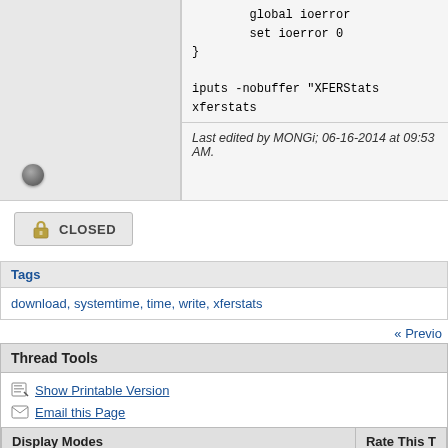global ioerror
    set ioerror 0
}

iputs -nobuffer "XFERStats
xferstats
Last edited by MONGi; 06-16-2014 at 09:53 AM.
CLOSED
Tags
download, systemtime, time, write, xferstats
« Previo
Thread Tools
Show Printable Version
Email this Page
Display Modes
Rate This T